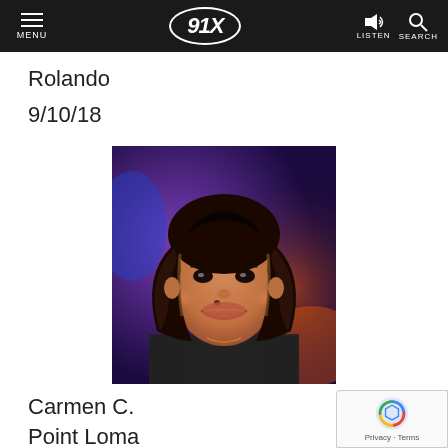MENU | 91X | LISTEN | SEARCH
Rolando
9/10/18
[Figure (photo): Photo of a smiling woman with dark brown shoulder-length hair with highlights, wearing a black jacket, against a purple/blue bokeh nightclub background]
Carmen C.
Point Loma